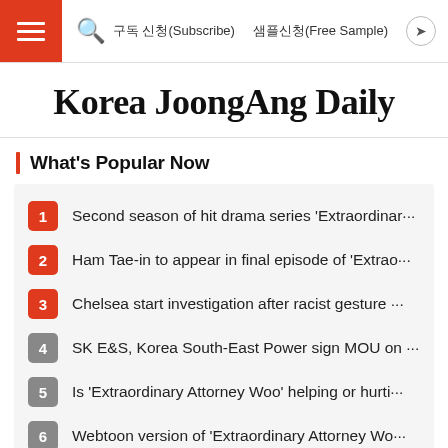구독 신청(Subscribe)  샘플신청(Free Sample)
Korea JoongAng Daily
What's Popular Now
1. Second season of hit drama series 'Extraordinar···
2. Ham Tae-in to appear in final episode of 'Extrao···
3. Chelsea start investigation after racist gesture ···
4. SK E&S, Korea South-East Power sign MOU on ···
5. Is 'Extraordinary Attorney Woo' helping or hurti···
6. Webtoon version of 'Extraordinary Attorney Wo···
7. [CELEB] Blackpink is finally back in your area, an···
8. Sexual harassment reported at embassy in the ···
9. Korean tech blue chips squeezed by higher cost···
10. BTS's J-Hope donates 100 million won to help y···